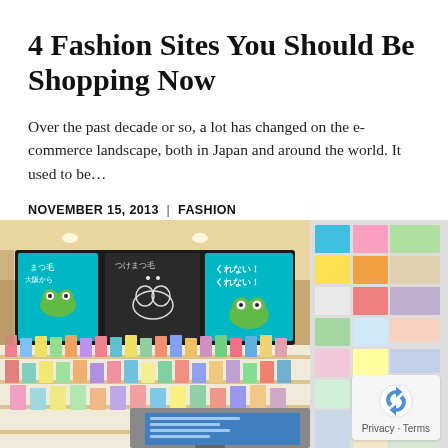4 Fashion Sites You Should Be Shopping Now
Over the past decade or so, a lot has changed on the e-commerce landscape, both in Japan and around the world. It used to be...
NOVEMBER 15, 2013 | FASHION
[Figure (photo): Interior of a Japanese retail/fashion/beauty store showing colorful product displays, signage with Japanese text and frog character, shelves of beauty and cosmetic products, and a checkout counter with a monitor.]